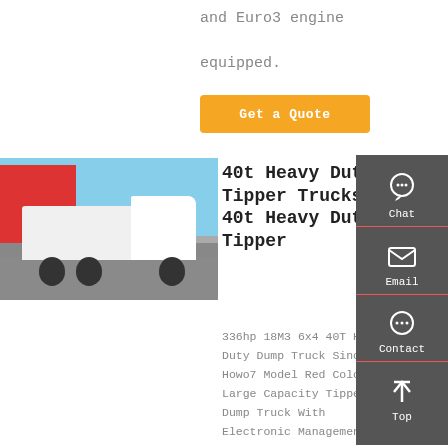and Euro3 engine equipped.
Get a Quote
[Figure (photo): White heavy duty truck (Sinotruk Howo7) parked in a lot with a red building in the background and blue sky.]
40t Heavy Duty Tipper Trucks 40t Heavy Duty Tipper
336hp 18M3 6x4 40T Heavy Duty Dump Truck Sinotruk Howo7 Model Red Color Large Capacity Tipper Dump Truck With Electronic Management
Chat
Email
Contact
Top